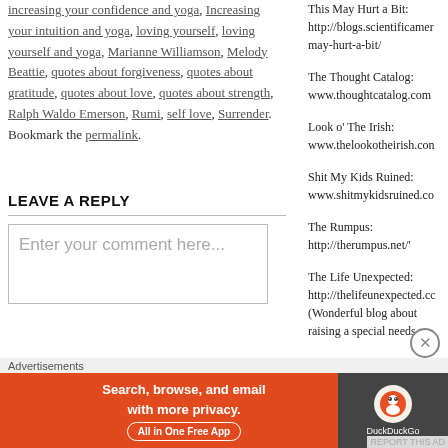increasing your confidence and yoga, Increasing your intuition and yoga, loving yourself, loving yourself and yoga, Marianne Williamson, Melody Beattie, quotes about forgiveness, quotes about gratitude, quotes about love, quotes about strength, Ralph Waldo Emerson, Rumi, self love, Surrender. Bookmark the permalink.
LEAVE A REPLY
Enter your comment here...
This May Hurt a Bit: http://blogs.scientificamer may-hurt-a-bit/
The Thought Catalog: www.thoughtcatalog.com
Look o' The Irish: www.thelookotheirish.con
Shit My Kids Ruined: www.shitmykidsruined.co
The Rumpus: http://therumpus.net/'
The Life Unexpected: http://thelifeunexpected.cc (Wonderful blog about raising a special needs
Advertisements
[Figure (infographic): DuckDuckGo advertisement banner: orange background on left with text 'Search, browse, and email with more privacy. All in One Free App', dark background on right with DuckDuckGo logo]